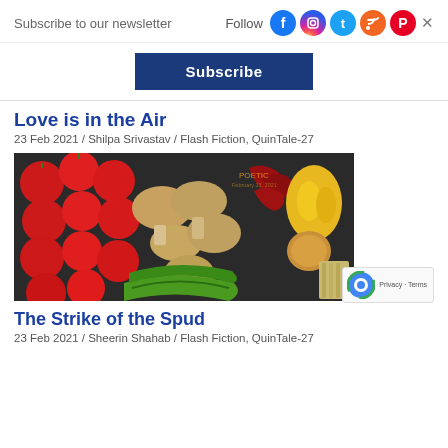Subscribe to our newsletter
Follow
Subscribe
Love is in the Air
23 Feb 2021 / Shilpa Srivastav / Flash Fiction, QuinTale-27
[Figure (photo): Overhead view of various vegetables including red tomatoes, mushrooms, green chilies, red dried chillies, yellow bell pepper, onion, and garlic on a dark surface]
The Strike of the Spud
23 Feb 2021 / Sheerin Shahab / Flash Fiction, QuinTale-27